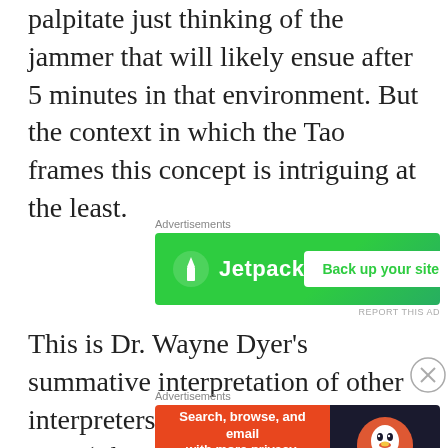palpitate just thinking of the jammer that will likely ensue after 5 minutes in that environment.  But the context in which the Tao frames this concept is intriguing at the least.
[Figure (screenshot): Jetpack advertisement banner with green background, Jetpack logo and 'Back up your site' button]
This is Dr. Wayne Dyer's summative interpretation of other interpreters of this ancient Chinese text: (I know what I just
[Figure (screenshot): DuckDuckGo advertisement banner: 'Search, browse, and email with more privacy. All in One Free App' with DuckDuckGo logo on dark background]
REPORT THIS AD
REPORT THIS AD